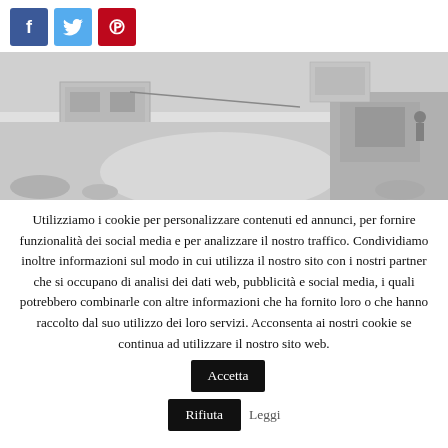[Figure (other): Social media share buttons: Facebook (blue), Twitter (light blue), Pinterest (red)]
[Figure (photo): Black and white aerial/overhead photo of a building or courtyard with surrounding terrain]
Utilizziamo i cookie per personalizzare contenuti ed annunci, per fornire funzionalità dei social media e per analizzare il nostro traffico. Condividiamo inoltre informazioni sul modo in cui utilizza il nostro sito con i nostri partner che si occupano di analisi dei dati web, pubblicità e social media, i quali potrebbero combinarle con altre informazioni che ha fornito loro o che hanno raccolto dal suo utilizzo dei loro servizi. Acconsenta ai nostri cookie se continua ad utilizzare il nostro sito web.
Accetta
Rifiuta
Leggi